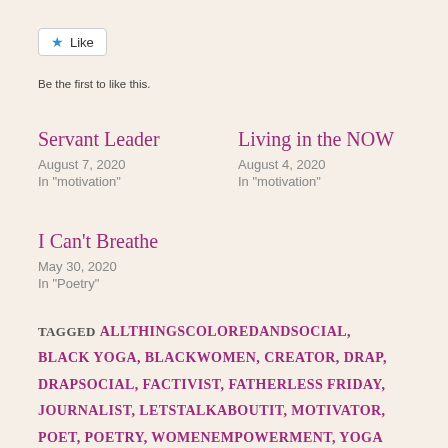[Figure (other): Like button UI element with blue star icon and 'Like' text]
Be the first to like this.
Servant Leader
August 7, 2020
In "motivation"
Living in the NOW
August 4, 2020
In "motivation"
I Can't Breathe
May 30, 2020
In "Poetry"
TAGGED ALLTHINGSCOLOREDANDSOCIAL, BLACK YOGA, BLACKWOMEN, CREATOR, DRAP, DRAPSOCIAL, FACTIVIST, FATHERLESS FRIDAY, JOURNALIST, LETSTALKABOUTIT, MOTIVATOR, POET, POETRY, WOMENEMPOWERMENT, YOGA